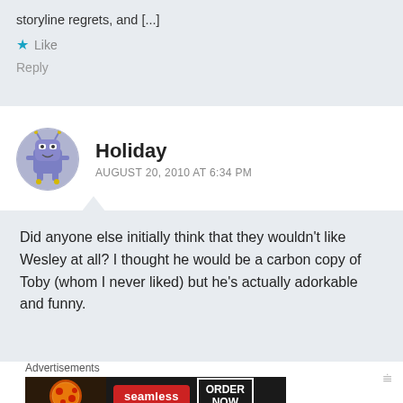storyline regrets, and [...]
Like
Reply
Holiday
AUGUST 20, 2010 AT 6:34 PM
Did anyone else initially think that they wouldn't like Wesley at all? I thought he would be a carbon copy of Toby (whom I never liked) but he's actually adorkable and funny.
Advertisements
[Figure (screenshot): Seamless food delivery advertisement banner with pizza image, seamless logo, and ORDER NOW button]